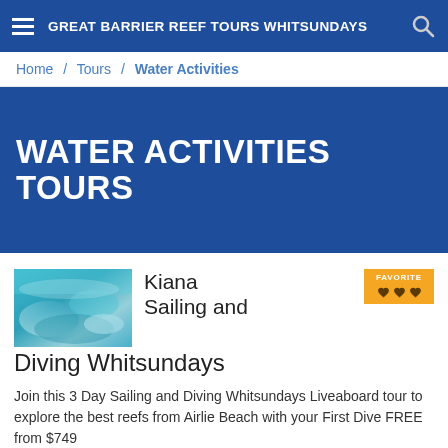GREAT BARRIER REEF TOURS WHITSUNDAYS
Home / Tours / Water Activities
WATER ACTIVITIES TOURS
[Figure (photo): Aerial or underwater view of the Great Barrier Reef showing coral and turquoise water]
Kiana Sailing and Diving Whitsundays
Join this 3 Day Sailing and Diving Whitsundays Liveaboard tour to explore the best reefs from Airlie Beach with your First Dive FREE from $749
READ MORE